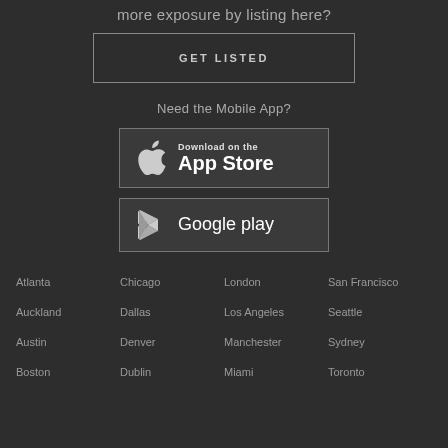more exposure by listing here?
GET LISTED
Need the Mobile App?
[Figure (illustration): Download on the App Store button with Apple logo]
[Figure (illustration): Google play button with play icon]
Atlanta
Chicago
London
San Francisco
Auckland
Dallas
Los Angeles
Seattle
Austin
Denver
Manchester
Sydney
Boston
Dublin
Miami
Toronto